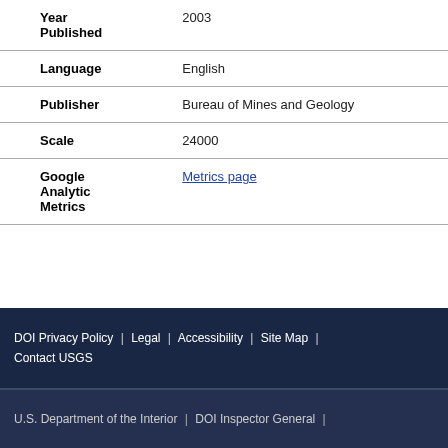| Field | Value |
| --- | --- |
| Year Published | 2003 |
| Language | English |
| Publisher | Bureau of Mines and Geology |
| Scale | 24000 |
| Google Analytic Metrics | Metrics page |
DOI Privacy Policy | Legal | Accessibility | Site Map | Contact USGS
U.S. Department of the Interior | DOI Inspector General |